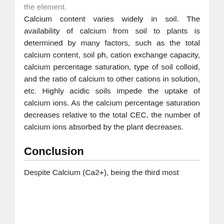the element. Calcium content varies widely in soil. The availability of calcium from soil to plants is determined by many factors, such as the total calcium content, soil ph, cation exchange capacity, calcium percentage saturation, type of soil colloid, and the ratio of calcium to other cations in solution, etc. Highly acidic soils impede the uptake of calcium ions. As the calcium percentage saturation decreases relative to the total CEC, the number of calcium ions absorbed by the plant decreases.
Conclusion
Despite Calcium (Ca2+), being the third most